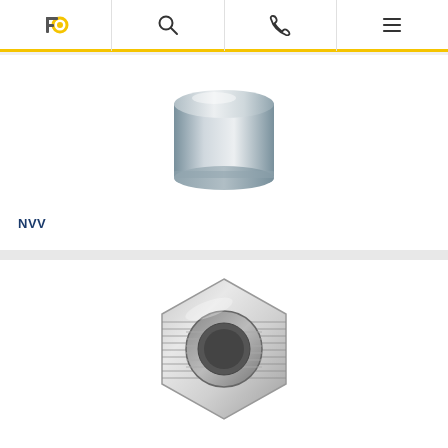Navigation bar with logo, search, phone, and menu icons
[Figure (photo): Silver cylindrical cap/plug fitting, metallic finish, viewed from slight angle showing top and side]
NVV
[Figure (photo): Nickel-plated hexagonal bushing/reducer fitting with external male threads on outer diameter and internal female threads visible from top, silver metallic finish]